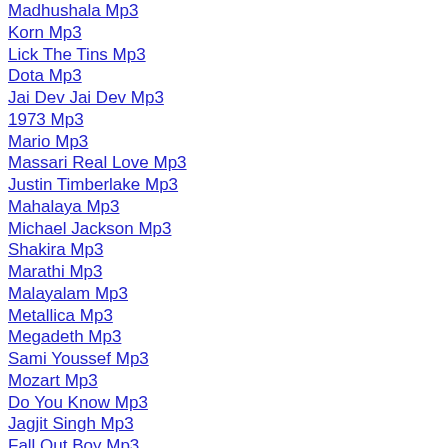Madhushala Mp3
Korn Mp3
Lick The Tins Mp3
Dota Mp3
Jai Dev Jai Dev Mp3
1973 Mp3
Mario Mp3
Massari Real Love Mp3
Justin Timberlake Mp3
Mahalaya Mp3
Michael Jackson Mp3
Shakira Mp3
Marathi Mp3
Malayalam Mp3
Metallica Mp3
Megadeth Mp3
Sami Youssef Mp3
Mozart Mp3
Do You Know Mp3
Jagjit Singh Mp3
Fall Out Boy Mp3
Manele Mp3
How To Name It Mp3
Ungu Mp3
Massari Mp3
Mp3...